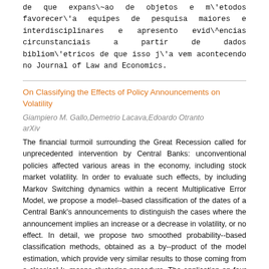de que expans\~ao de objetos e m\'etodos favorecer\'a equipes de pesquisa maiores e interdisciplinares e apresento evid\^encias circunstanciais a partir de dados bibliom\'etricos de que isso j\'a vem acontecendo no Journal of Law and Economics.
On Classifying the Effects of Policy Announcements on Volatility
Giampiero M. Gallo,Demetrio Lacava,Edoardo Otranto
arXiv
The financial turmoil surrounding the Great Recession called for unprecedented intervention by Central Banks: unconventional policies affected various areas in the economy, including stock market volatility. In order to evaluate such effects, by including Markov Switching dynamics within a recent Multiplicative Error Model, we propose a model--based classification of the dates of a Central Bank's announcements to distinguish the cases where the announcement implies an increase or a decrease in volatility, or no effect. In detail, we propose two smoothed probability--based classification methods, obtained as a by--product of the model estimation, which provide very similar results to those coming from a classical k--means clustering procedure. The application on four Eurozone market volatility series shows a successful classification of 144 European Central Bank announcements.